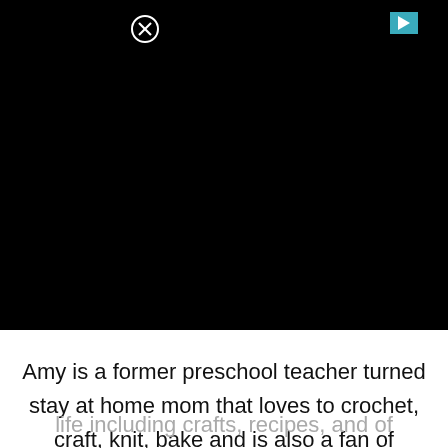[Figure (other): Black banner/advertisement area with a close (X) button in a circle on the upper left and a teal play/ad icon on the upper right]
Amy is a former preschool teacher turned stay at home mom that loves to crochet, craft, knit, bake and is also a fan of photography. She is now a freelance crochet designer and blogger. Amy started her blog in 2012 to help promote her crochet business but now shares aspects of her every day life including crafts, recipes, and of course, crochet!